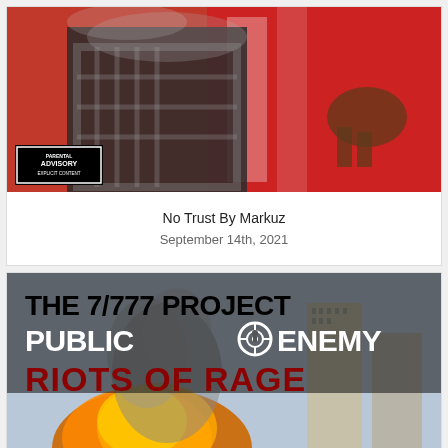[Figure (illustration): Album cover for 'No Trust' by Markuz. Shows a person in a black and white plaid shirt with a red background, Parental Advisory Explicit Content label in lower left corner.]
No Trust By Markuz
September 14th, 2021
[Figure (illustration): Album cover for 'The 7/777 Project - Riots of Rage' by Public Enemy. Black and white text on top, 'THE 7/777 PROJECT' in black bold, 'PUBLIC ENEMY' in white bold with target logo, 'RIOTS OF RAGE' in red bold. Background shows an explosion and the Twin Towers.]